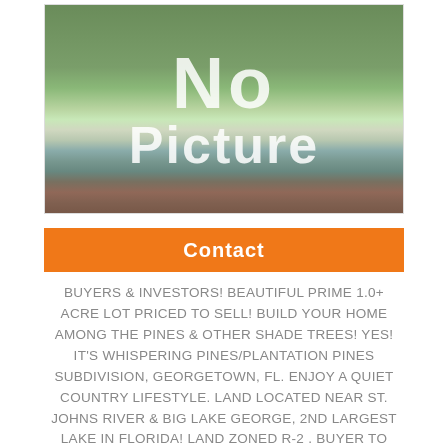[Figure (photo): Outdoor scene with a wooden pier/dock over water, purple flowers in the foreground, green trees and grass, with large white 'No Picture' text overlay]
Contact
BUYERS & INVESTORS! BEAUTIFUL PRIME 1.0+ ACRE LOT PRICED TO SELL! BUILD YOUR HOME AMONG THE PINES & OTHER SHADE TREES! YES! IT'S WHISPERING PINES/PLANTATION PINES SUBDIVISION, GEORGETOWN, FL. ENJOY A QUIET COUNTRY LIFESTYLE. LAND LOCATED NEAR ST. JOHNS RIVER & BIG LAKE GEORGE, 2ND LARGEST LAKE IN FLORIDA! LAND ZONED R-2 . BUYER TO PROVIDE SURVEY TO DETERMINE EXACT PROPERTY LINES. WHEN BUILDING A HOME A WELL,